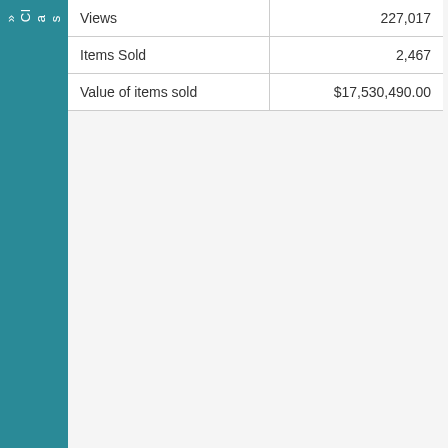orhomes-used»ClassAMotorhomes
| Views | 227,017 |
| Items Sold | 2,467 |
| Value of items sold | $17,530,490.00 |